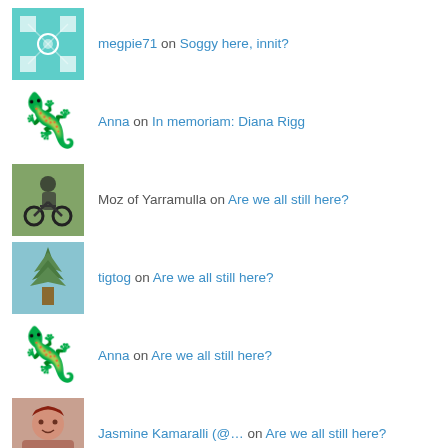megpie71 on Soggy here, innit?
Anna on In memoriam: Diana Rigg
Moz of Yarramulla on Are we all still here?
tigtog on Are we all still here?
Anna on Are we all still here?
Jasmine Kamaralli (@… on Are we all still here?
angharad on Are we all still here?
megpie71 on Are we all still here?
tigtog on Australia Burns: Bells Line of…
Index Tags